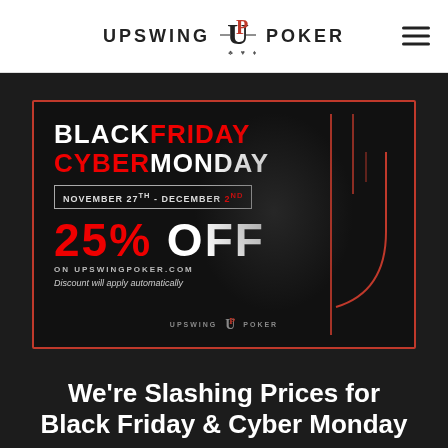UPSWING POKER
[Figure (infographic): Black Friday Cyber Monday promotional banner for Upswing Poker. Dark background with playing card imagery. Text reads: BLACK FRIDAY CYBER MONDAY | NOVEMBER 27TH - DECEMBER 2ND | 25% OFF ON UPSWINGPOKER.COM | Discount will apply automatically. Red border and red accent lines. Upswing Poker logo at bottom center.]
We’re Slashing Prices for Black Friday & Cyber Monday